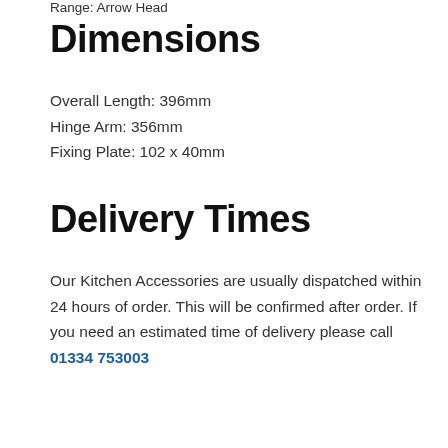Range: Arrow Head
Dimensions
Overall Length: 396mm
Hinge Arm: 356mm
Fixing Plate: 102 x 40mm
Delivery Times
Our Kitchen Accessories are usually dispatched within 24 hours of order. This will be confirmed after order. If you need an estimated time of delivery please call 01334 753003